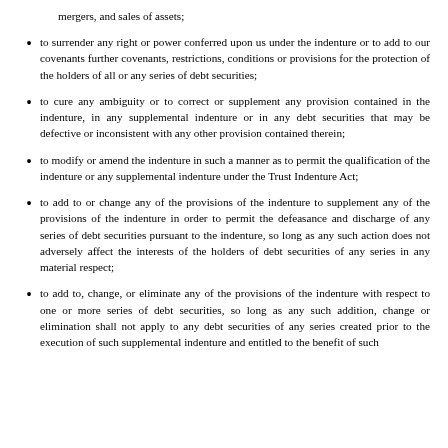mergers, and sales of assets;
to surrender any right or power conferred upon us under the indenture or to add to our covenants further covenants, restrictions, conditions or provisions for the protection of the holders of all or any series of debt securities;
to cure any ambiguity or to correct or supplement any provision contained in the indenture, in any supplemental indenture or in any debt securities that may be defective or inconsistent with any other provision contained therein;
to modify or amend the indenture in such a manner as to permit the qualification of the indenture or any supplemental indenture under the Trust Indenture Act;
to add to or change any of the provisions of the indenture to supplement any of the provisions of the indenture in order to permit the defeasance and discharge of any series of debt securities pursuant to the indenture, so long as any such action does not adversely affect the interests of the holders of debt securities of any series in any material respect;
to add to, change, or eliminate any of the provisions of the indenture with respect to one or more series of debt securities, so long as any such addition, change or elimination shall not apply to any debt securities of any series created prior to the execution of such supplemental indenture and entitled to the benefit of such